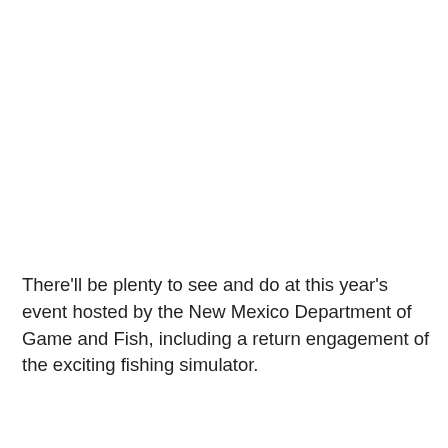There'll be plenty to see and do at this year's event hosted by the New Mexico Department of Game and Fish, including a return engagement of the exciting fishing simulator.